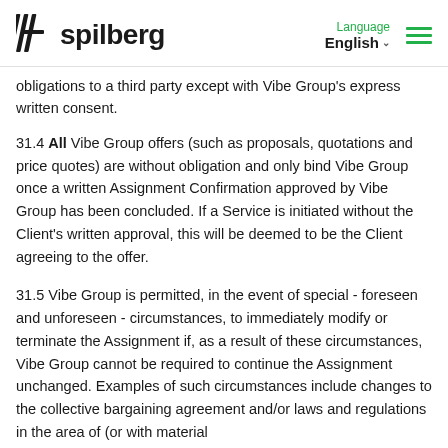spilberg | Language English
obligations to a third party except with Vibe Group's express written consent.
31.4 All Vibe Group offers (such as proposals, quotations and price quotes) are without obligation and only bind Vibe Group once a written Assignment Confirmation approved by Vibe Group has been concluded. If a Service is initiated without the Client's written approval, this will be deemed to be the Client agreeing to the offer.
31.5 Vibe Group is permitted, in the event of special - foreseen and unforeseen - circumstances, to immediately modify or terminate the Assignment if, as a result of these circumstances, Vibe Group cannot be required to continue the Assignment unchanged. Examples of such circumstances include changes to the collective bargaining agreement and/or laws and regulations in the area of (or with material